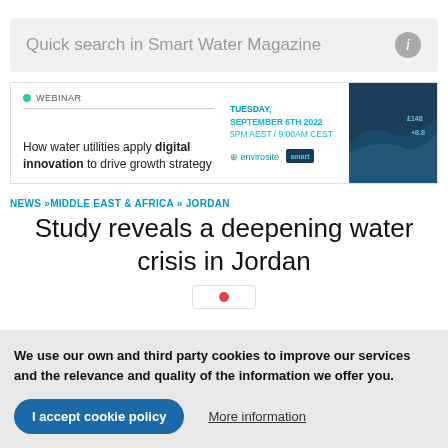Quick search in Smart Water Magazine
[Figure (infographic): Webinar banner: WEBINAR tag, title 'How water utilities apply digital innovation to drive growth strategy', date TUESDAY, SEPTEMBER 6TH 2022, 5PM AEST / 9:00AM CEST, logos for envirosite and smart, aerial city photo on right]
NEWS »MIDDLE EAST & AFRICA » JORDAN
Study reveals a deepening water crisis in Jordan
We use our own and third party cookies to improve our services and the relevance and quality of the information we offer you.
I accept cookie policy
More information